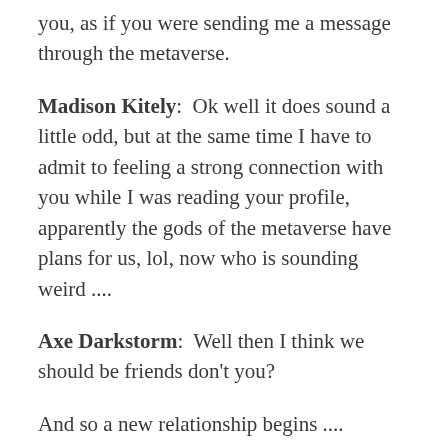you, as if you were sending me a message through the metaverse.
Madison Kitely:  Ok well it does sound a little odd, but at the same time I have to admit to feeling a strong connection with you while I was reading your profile,  apparently the gods of the metaverse have plans for us, lol, now who is sounding weird ....
Axe Darkstorm:  Well then I think we should be friends don't you?
And so a new relationship begins ....